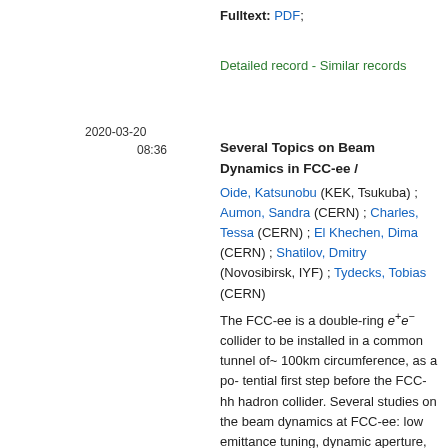Fulltext: PDF;
Detailed record - Similar records
2020-03-20
08:36
Several Topics on Beam Dynamics in FCC-ee /
Oide, Katsunobu (KEK, Tsukuba) ; Aumon, Sandra (CERN) ; Charles, Tessa (CERN) ; El Khechen, Dima (CERN) ; Shatilov, Dmitry (Novosibirsk, IYF) ; Tydecks, Tobias (CERN)
The FCC-ee is a double-ring e+e- collider to be installed in a common tunnel of~ 100km circumference, as a po- tential first step before the FCC-hh hadron collider. Several studies on the beam dynamics at FCC-ee: low emittance tuning, dynamic aperture, beam blowup with/without beam beam, are introduced in the paper..
JACOW, 2019 - 5 p. - Published in :
10.18429/JACoW-eeFACT2018-MOYAA01
Fulltext: PDF;
In : 62nd ICFA Advanced Beam Dynamics